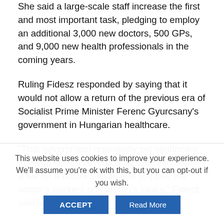She said a large-scale staff increase the first and most important task, pledging to employ an additional 3,000 new doctors, 500 GPs, and 9,000 new health professionals in the coming years.
Ruling Fidesz responded by saying that it would not allow a return of the previous era of Socialist Prime Minister Ferenc Gyurcsany's government in Hungarian healthcare.
“That government repeatedly cut healthcare funding, closed several hospitals, introduced a fee for a doctor's visits and stripped the sector's workers one month's salary,” Fidesz said in a
This website uses cookies to improve your experience. We’ll assume you’re ok with this, but you can opt-out if you wish.